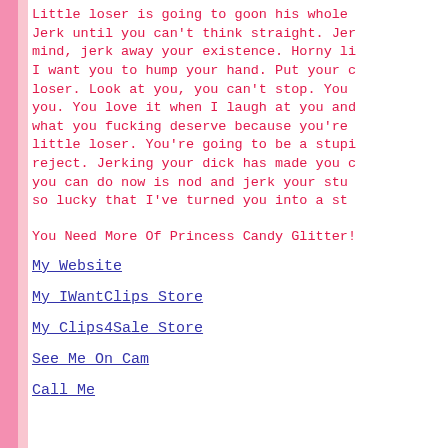Little loser is going to goon his whole life. Jerk until you can't think straight. Jerk away your mind, jerk away your existence. Horny little loser, I want you to hump your hand. Put your cock away, loser. Look at you, you can't stop. You are pathetic, you. You love it when I laugh at you and that is what you fucking deserve because you're a stupid little loser. You're going to be a stupid jerking reject. Jerking your dick has made you compliant and you can do now is nod and jerk your stupid cock. You're so lucky that I've turned you into a stupid jerk drone.
You Need More Of Princess Candy Glitter!
My Website
My IWantClips Store
My Clips4Sale Store
See Me On Cam
Call Me
[Figure (photo): Partial image of a plate or disc shape, partially visible at bottom of page]